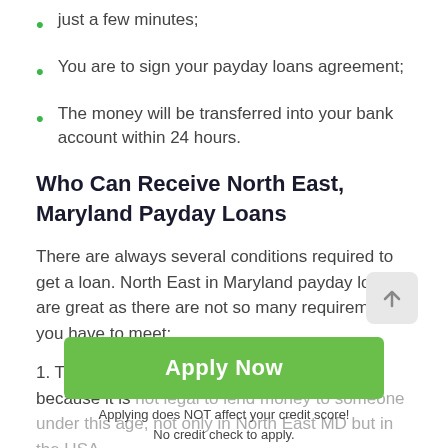just a few minutes;
You are to sign your payday loans agreement;
The money will be transferred into your bank account within 24 hours.
Who Can Receive North East, Maryland Payday Loans
There are always several conditions required to get a loan. North East in Maryland payday loans are great as there are not so many requirements you have to meet:
1. The borrower's age must be over 18 years because it is not legal to lend money to someone under this age, not only in North East MD but in the USA.
2. The customer must be a legal resident of the country. That is why they are asked to provide their address.
Apply Now
Applying does NOT affect your credit score!
No credit check to apply.